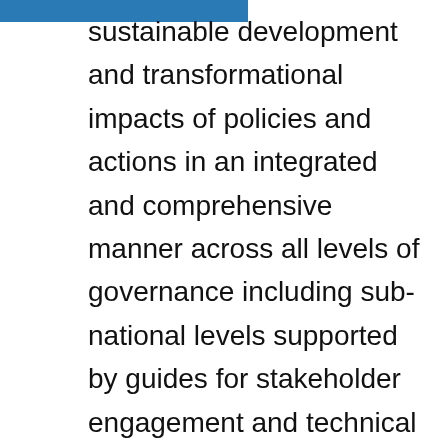sustainable development and transformational impacts of policies and actions in an integrated and comprehensive manner across all levels of governance including sub-national levels supported by guides for stakeholder engagement and technical review.

They can play a critical role in implementing Nationally Determined Contributions and in preparing reports under the Enhanced Transparency